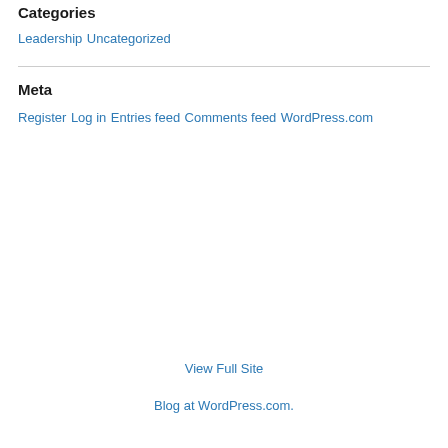Categories
Leadership
Uncategorized
Meta
Register
Log in
Entries feed
Comments feed
WordPress.com
View Full Site
Blog at WordPress.com.